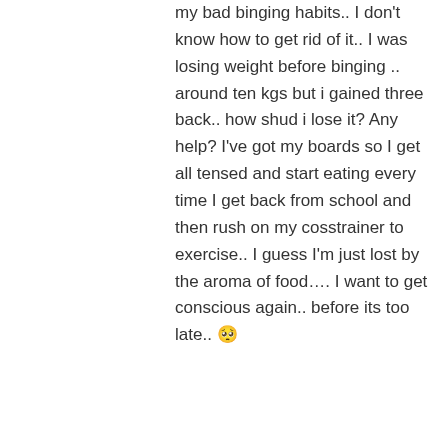my bad binging habits.. I don't know how to get rid of it.. I was losing weight before binging .. around ten kgs but i gained three back.. how shud i lose it? Any help? I've got my boards so I get all tensed and start eating every time I get back from school and then rush on my cosstrainer to exercise.. I guess I'm just lost by the aroma of food…. I want to get conscious again.. before its too late.. 😢
★ Like
↳ Reply
Mush Panjwani on December 15, 2011 at 5:29 am
Shreya, try a 'cheat day' when you can